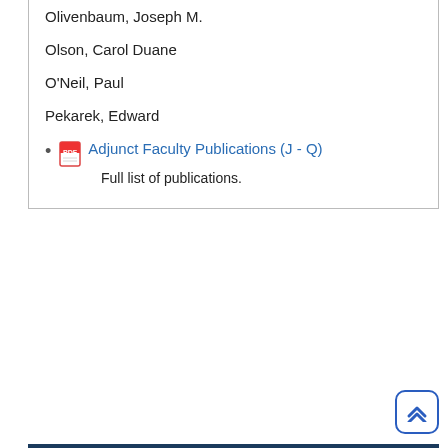Olivenbaum, Joseph M.
Olson, Carol Duane
O'Neil, Paul
Pekarek, Edward
Adjunct Faculty Publications (J - Q)
Full list of publications.
BIBLIOGRAPHY OF PRINT PUBLICATIONS (J - Q)
Leiser, Burton:
Digital Publications
Book: Liberty, Justice, and Morals: Contemporary Value Conflicts (3rd ed.) (1986)
Levi, Kelly Koenig:
Article: "Finding Success in the 'Cauldron of Competition:' The Effectiveness of Academic Support Programs," 2004 BYU Ed. and L. J. 1